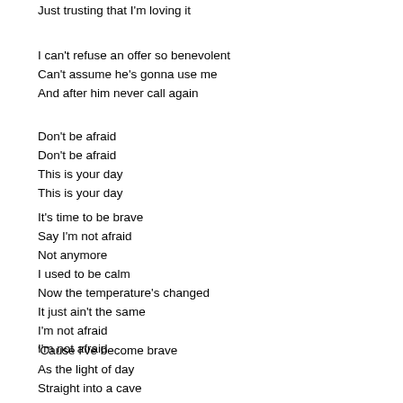Just trusting that I'm loving it
I can't refuse an offer so benevolent
Can't assume he's gonna use me
And after him never call again
Don't be afraid
Don't be afraid
This is your day
This is your day
It's time to be brave
Say I'm not afraid
Not anymore
I used to be calm
Now the temperature's changed
It just ain't the same
I'm not afraid
I'm not afraid
'Cause I've become brave
As the light of day
Straight into a cave
To show me the way
That I might be saved
Now I'm turning the page
Thanks to the power of love I can love
Because I am brave
(I am brave, I am brave, yeah, oh...)